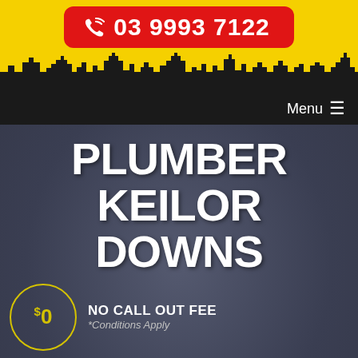03 9993 7122
[Figure (screenshot): Website header for a plumbing service. Yellow background with red rounded button showing phone number 03 9993 7122 with phone icon. Black city skyline silhouette below. Dark nav bar with Menu hamburger icon. Dark textured hero section with large white bold text PLUMBER KEILOR DOWNS. Yellow circle badge with $0 and NO CALL OUT FEE text. Disclaimer text. Yellow circle badge with star and QUALITY GUARANTEED text.]
NO CALL OUT FEE
*Conditions Apply
call out fee is only waived if client proceeds with the job if not fees apply
QUALITY GUARANTEED